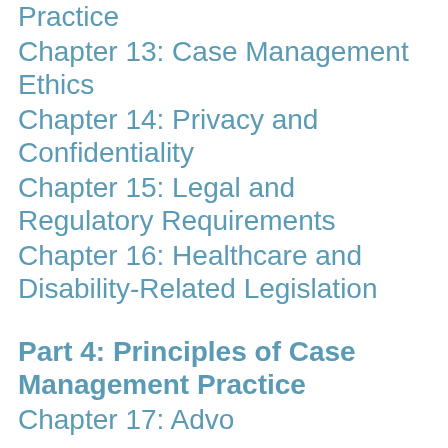Practice
Chapter 13:  Case Management Ethics
Chapter 14:  Privacy and Confidentiality
Chapter 15:  Legal and Regulatory Requirements
Chapter 16:  Healthcare and Disability-Related Legislation
Part 4: Principles of Case Management Practice
Chapter 17:  Advocacy